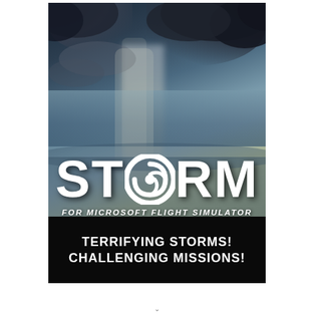[Figure (illustration): Cover art for 'STORM for Microsoft Flight Simulator' showing an aerial view of a dramatic storm system with dark clouds, rain column, and ocean below. Large white STORM logo with hurricane symbol replacing the letter O, subtitle 'FOR MICROSOFT FLIGHT SIMULATOR' and black banner with text 'TERRIFYING STORMS! CHALLENGING MISSIONS!']